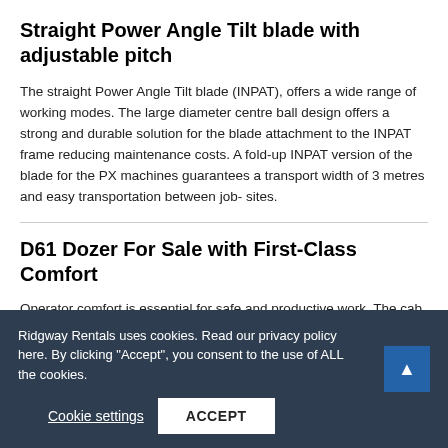Straight Power Angle Tilt blade with adjustable pitch
The straight Power Angle Tilt blade (INPAT), offers a wide range of working modes. The large diameter centre ball design offers a strong and durable solution for the blade attachment to the INPAT frame reducing maintenance costs. A fold-up INPAT version of the blade for the PX machines guarantees a transport width of 3 metres and easy transportation between job- sites.
D61 Dozer For Sale with First-Class Comfort
Operator comfort is essential for safe and productive work. The cab on the D61-24 is quiet and comfortable, an ideal environment to concentrate on the job. Its
Ridgway Rentals uses cookies. Read our privacy policy here. By clicking "Accept", you consent to the use of ALL the cookies.